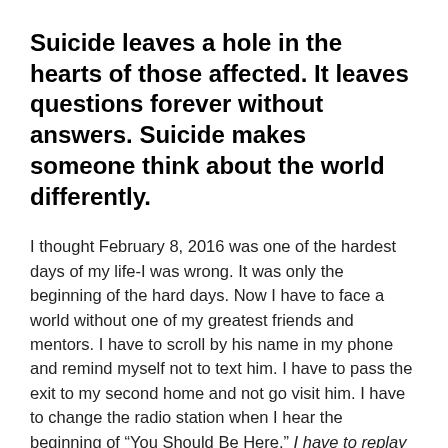Suicide leaves a hole in the hearts of those affected. It leaves questions forever without answers. Suicide makes someone think about the world differently.
I thought February 8, 2016 was one of the hardest days of my life-I was wrong. It was only the beginning of the hard days. Now I have to face a world without one of my greatest friends and mentors. I have to scroll by his name in my phone and remind myself not to text him. I have to pass the exit to my second home and not go visit him. I have to change the radio station when I hear the beginning of “You Should Be Here.” I have to replay every conversation we ever had